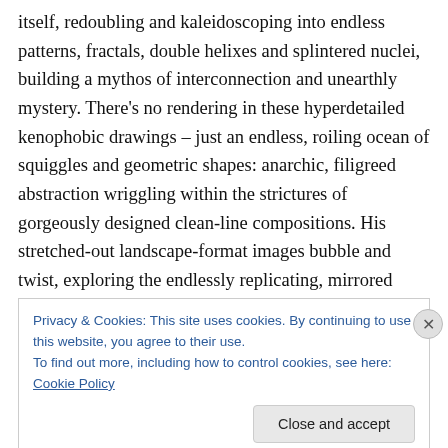itself, redoubling and kaleidoscoping into endless patterns, fractals, double helixes and splintered nuclei, building a mythos of interconnection and unearthly mystery. There's no rendering in these hyperdetailed kenophobic drawings – just an endless, roiling ocean of squiggles and geometric shapes: anarchic, filigreed abstraction wriggling within the strictures of gorgeously designed clean-line compositions. His stretched-out landscape-format images bubble and twist, exploring the endlessly replicating, mirrored architectures of both our universe and culture. As above, so below.
Privacy & Cookies: This site uses cookies. By continuing to use this website, you agree to their use.
To find out more, including how to control cookies, see here: Cookie Policy